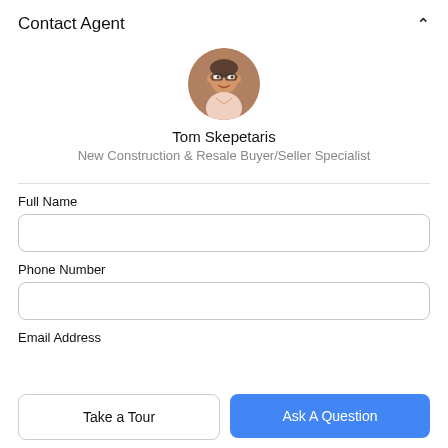Contact Agent
[Figure (photo): Circular profile photo of real estate agent Tom Skepetaris, a middle-aged man with glasses and a smile, wearing a light pink shirt.]
Tom Skepetaris
New Construction & Resale Buyer/Seller Specialist
Full Name
Phone Number
Email Address
Take a Tour
Ask A Question